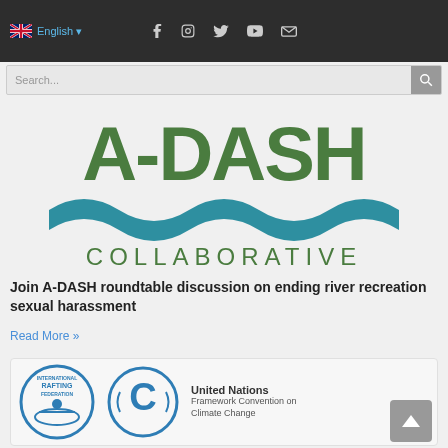English | Social media icons (Facebook, Instagram, Twitter, YouTube, Email)
[Figure (logo): A-DASH Collaborative logo with large green bold text 'A-DASH' and teal wave graphic below it, with 'COLLABORATIVE' in green spaced letters beneath]
Join A-DASH roundtable discussion on ending river recreation sexual harassment
Read More »
[Figure (photo): Bottom card showing three logos: International Rafting Federation logo, UN Framework Convention on Climate Change logo (circular blue C emblem), and United Nations Framework Convention on Climate Change text logo]